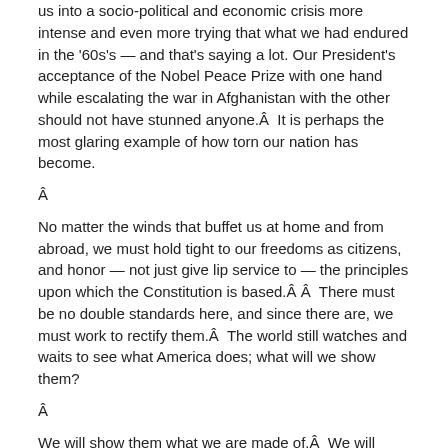us into a socio-political and economic crisis more intense and even more trying that what we had endured in the '60s's — and that's saying a lot. Our President's acceptance of the Nobel Peace Prize with one hand while escalating the war in Afghanistan with the other should not have stunned anyone.Â  It is perhaps the most glaring example of how torn our nation has become.
Â
No matter the winds that buffet us at home and from abroad, we must hold tight to our freedoms as citizens, and honor — not just give lip service to — the principles upon which the Constitution is based.Â Â  There must be no double standards here, and since there are, we must work to rectify them.Â  The world still watches and waits to see what America does; what will we show them?
Â
We will show them what we are made of.Â  We will show them what has kept us intact and what has strengthened us thus far.Â  This is not the first time that we've been tossed upon the churning waters of national flux; not the first time that our envelope was pushed to its limits.
Â